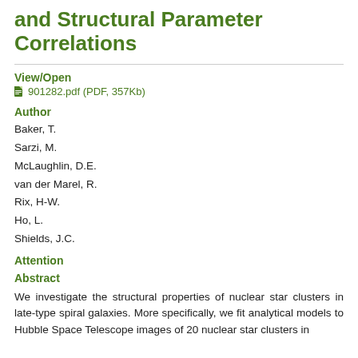and Structural Parameter Correlations
View/Open
901282.pdf (PDF, 357Kb)
Author
Baker, T.
Sarzi, M.
McLaughlin, D.E.
van der Marel, R.
Rix, H-W.
Ho, L.
Shields, J.C.
Attention
Abstract
We investigate the structural properties of nuclear star clusters in late-type spiral galaxies. More specifically, we fit analytical models to Hubble Space Telescope images of 20 nuclear star clusters in